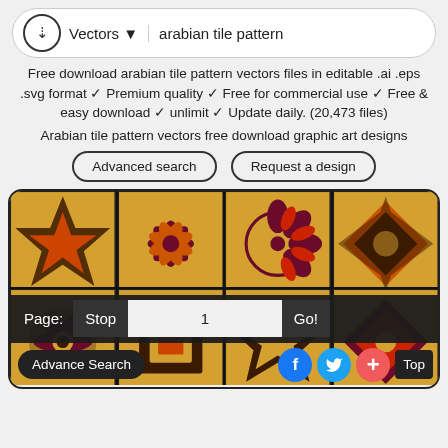Vectors ▼   arabian tile pattern
Free download arabian tile pattern vectors files in editable .ai .eps .svg format ✓ Premium quality ✓ Free for commercial use ✓ Free & easy download ✓ unlimit ✓ Update daily. (20,473 files)
Arabian tile pattern vectors free download graphic art designs
Advanced search
Request a design
[Figure (screenshot): Grid of 8 arabian/moroccan tile pattern vector images in warm orange, dark brown, maroon and gold colors. Two rows of four tiles each, with geometric and floral patterns. Bottom overlay shows pagination controls: Page: Stop 1 Go! and footer bar with Advance Search, Facebook, Twitter, Plus, Top buttons.]